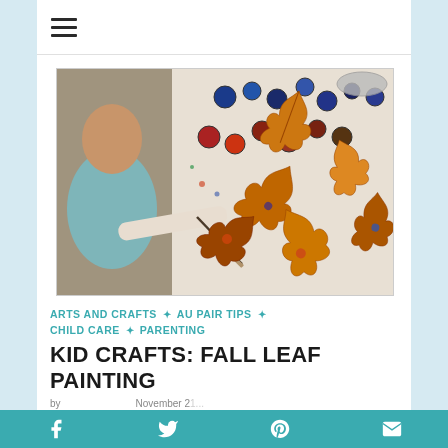☰
[Figure (photo): Child painting on autumn/fall maple leaves with colorful paint pots scattered on a white table, aerial view]
ARTS AND CRAFTS ✦ AU PAIR TIPS ✦ CHILD CARE ✦ PARENTING
KID CRAFTS: FALL LEAF PAINTING
Facebook Twitter Pinterest Email